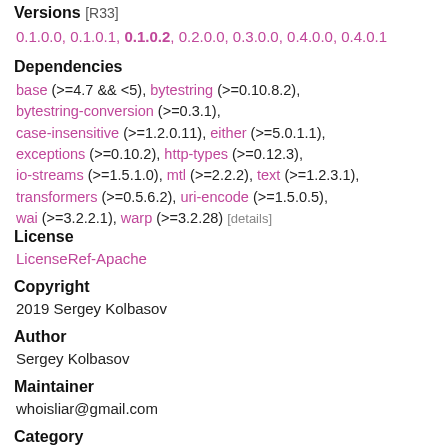Versions [R33]
0.1.0.0, 0.1.0.1, 0.1.0.2, 0.2.0.0, 0.3.0.0, 0.4.0.0, 0.4.0.1
Dependencies
base (>=4.7 && <5), bytestring (>=0.10.8.2), bytestring-conversion (>=0.3.1), case-insensitive (>=1.2.0.11), either (>=5.0.1.1), exceptions (>=0.10.2), http-types (>=0.12.3), io-streams (>=1.5.1.0), mtl (>=2.2.2), text (>=1.2.3.1), transformers (>=0.5.6.2), uri-encode (>=1.5.0.5), wai (>=3.2.2.1), warp (>=3.2.28) [details]
License
LicenseRef-Apache
Copyright
2019 Sergey Kolbasov
Author
Sergey Kolbasov
Maintainer
whoisliar@gmail.com
Category